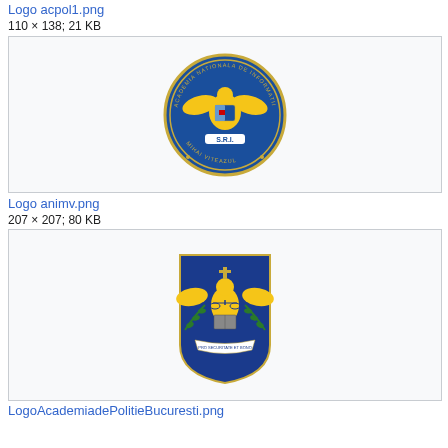Logo acpol1.png
110 × 138; 21 KB
[Figure (logo): Romanian intelligence academy emblem - circular blue seal with golden eagle, text 'ACADEMIA NATIONALA DE INFORMATII MIHAI VITEAZUL' and 'S.R.I.' at bottom]
Logo animv.png
207 × 207; 80 KB
[Figure (logo): Romanian police academy coat of arms - blue shield with golden eagle, scales of justice, olive branch, and book]
LogoAcademiadePolitieBucuresti.png